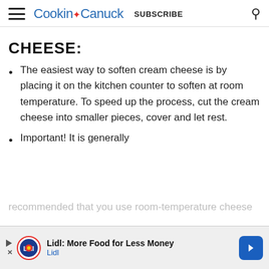Cookin Canuck  SUBSCRIBE
CHEESE:
The easiest way to soften cream cheese is by placing it on the kitchen counter to soften at room temperature. To speed up the process, cut the cream cheese into smaller pieces, cover and let rest.
Important! It is generally recommended that you use room-temperature cheese